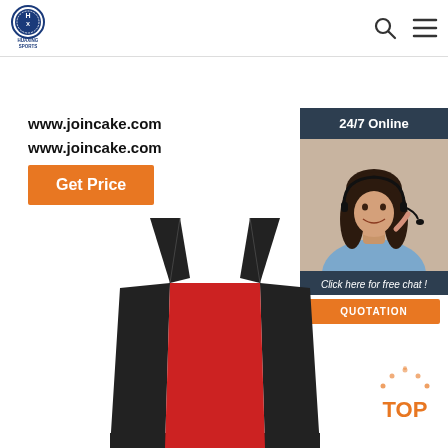[Figure (logo): Huaxing Sports logo - circular blue logo with HX letters and company name below]
www.joincake.com
www.joincake.com
Get Price
[Figure (illustration): Customer service representative with headset - 24/7 Online chat widget with QUOTATION button]
[Figure (photo): Red and black sports vest/bib top product photo]
[Figure (other): TOP button with orange text and dots above it]